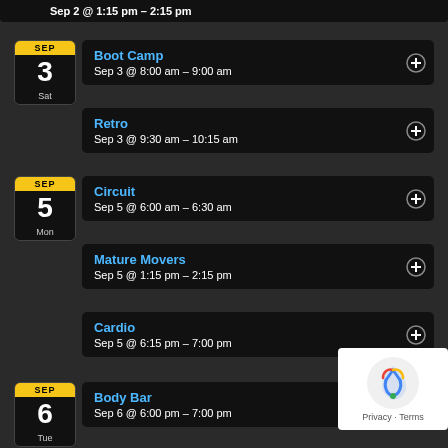Sep 2 @ 1:15 pm – 2:15 pm
Boot Camp | Sep 3 @ 8:00 am – 9:00 am
Retro | Sep 3 @ 9:30 am – 10:15 am
Circuit | Sep 5 @ 6:00 am – 6:30 am
Mature Movers | Sep 5 @ 1:15 pm – 2:15 pm
Cardio | Sep 5 @ 6:15 pm – 7:00 pm
Body Bar | Sep 6 @ 6:00 pm – 7:00 pm
SEP (partial bottom badge)